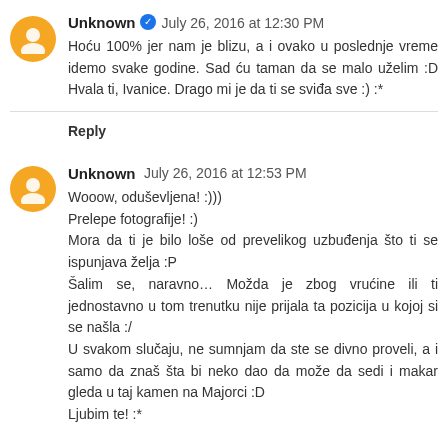Unknown ✔ July 26, 2016 at 12:30 PM
Hoću 100% jer nam je blizu, a i ovako u poslednje vreme idemo svake godine. Sad ću taman da se malo uželim :D Hvala ti, Ivanice. Drago mi je da ti se sviđa sve :) :*
Reply
Unknown  July 26, 2016 at 12:53 PM
Wooow, oduševljena! :)))
Prelepe fotografije! :)
Mora da ti je bilo loše od prevelikog uzbuđenja što ti se ispunjava želja :P
Šalim se, naravno… Možda je zbog vrućine ili ti jednostavno u tom trenutku nije prijala ta pozicija u kojoj si se našla :/
U svakom slučaju, ne sumnjam da ste se divno proveli, a i samo da znaš šta bi neko dao da može da sedi i makar gleda u taj kamen na Majorci :D
Ljubim te! :*